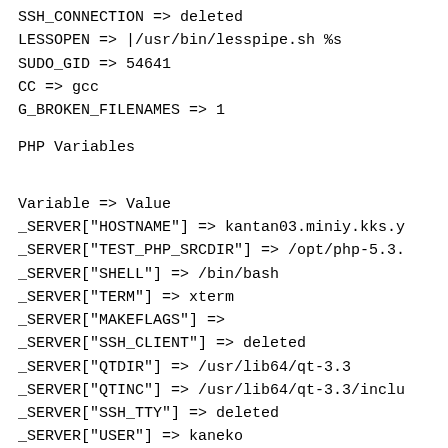SSH_CONNECTION => deleted
LESSOPEN => |/usr/bin/lesspipe.sh %s
SUDO_GID => 54641
CC => gcc
G_BROKEN_FILENAMES => 1
PHP Variables
Variable => Value
_SERVER["HOSTNAME"] => kantan03.miniy.kks.y
_SERVER["TEST_PHP_SRCDIR"] => /opt/php-5.3.
_SERVER["SHELL"] => /bin/bash
_SERVER["TERM"] => xterm
_SERVER["MAKEFLAGS"] =>
_SERVER["SSH_CLIENT"] => deleted
_SERVER["QTDIR"] => /usr/lib64/qt-3.3
_SERVER["QTINC"] => /usr/lib64/qt-3.3/inclu
_SERVER["SSH_TTY"] => deleted
_SERVER["USER"] => kaneko